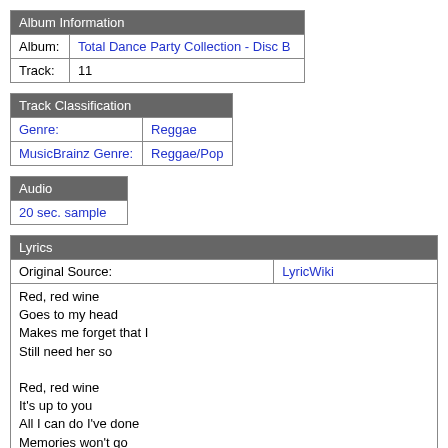| Album Information |
| --- |
| Album: | Total Dance Party Collection - Disc B |
| Track: | 11 |
| Track Classification |
| --- |
| Genre: | Reggae |
| MusicBrainz Genre: | Reggae/Pop |
| Audio |
| --- |
| 20 sec. sample |
| Lyrics |
| --- |
| Original Source: | LyricWiki |
| Red, red wine
Goes to my head
Makes me forget that I
Still need her so

Red, red wine
It's up to you
All I can do I've done
Memories won't go |  |